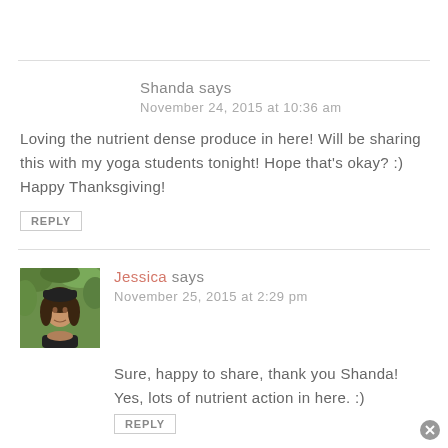Shanda says
November 24, 2015 at 10:36 am
Loving the nutrient dense produce in here! Will be sharing this with my yoga students tonight! Hope that's okay? :) Happy Thanksgiving!
REPLY
[Figure (photo): Avatar photo of Jessica, a woman with dark hair against green foliage background]
Jessica says
November 25, 2015 at 2:29 pm
Sure, happy to share, thank you Shanda! Yes, lots of nutrient action in here. :)
REPLY